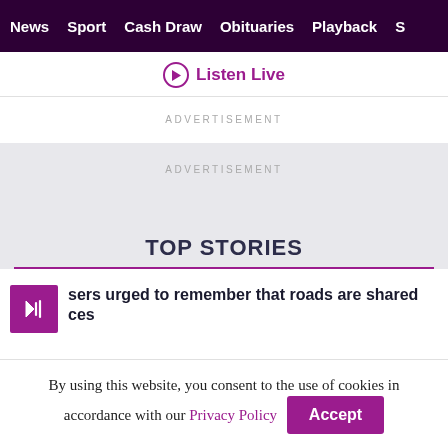News  Sport  Cash Draw  Obituaries  Playback  S
Listen Live
ADVERTISEMENT
ADVERTISEMENT
TOP STORIES
users urged to remember that roads are shared ces
By using this website, you consent to the use of cookies in accordance with our Privacy Policy  Accept